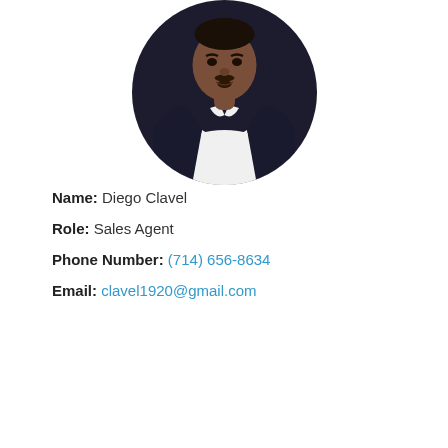[Figure (photo): Circular cropped headshot photo of a man in a dark navy blazer over a white dress shirt, showing head and upper torso, on white background.]
Name: Diego Clavel
Role: Sales Agent
Phone Number: (714) 656-8634
Email: clavel1920@gmail.com